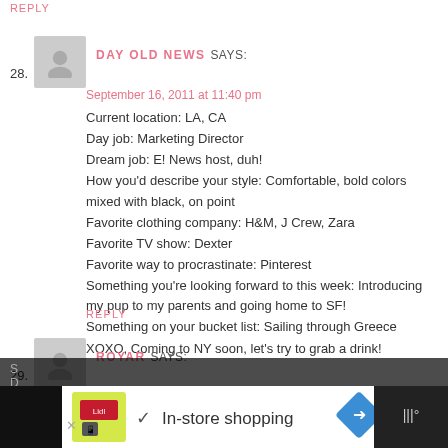REPLY
28. DAY OLD NEWS SAYS:
September 16, 2011 at 11:40 pm
Current location: LA, CA
Day job: Marketing Director
Dream job: E! News host, duh!
How you'd describe your style: Comfortable, bold colors mixed with black, on point
Favorite clothing company: H&M, J Crew, Zara
Favorite TV show: Dexter
Favorite way to procrastinate: Pinterest
Something you're looking forward to this week: Introducing my pup to my parents and going home to SF!
Something on your bucket list: Sailing through Greece
XOXO, Coming to NY soon, let's try to grab a drink!
REPLY
29. ROYAR SAYS:
September 16, 2011 at 8:46 pm